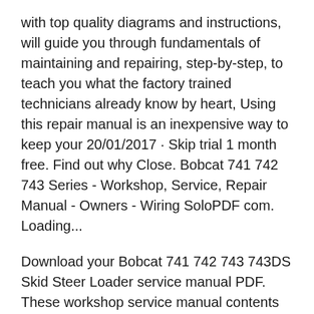with top quality diagrams and instructions, will guide you through fundamentals of maintaining and repairing, step-by-step, to teach you what the factory trained technicians already know by heart, Using this repair manual is an inexpensive way to keep your 20/01/2017 · Skip trial 1 month free. Find out why Close. Bobcat 741 742 743 Series - Workshop, Service, Repair Manual - Owners - Wiring SoloPDF com. Loading...
Download your Bobcat 741 742 743 743DS Skid Steer Loader service manual PDF. These workshop service manual contents step-by-step instructions for your Bobcat 741 742 743 743DS skid steer loader. The majority of topics are covered detailed. Step-by-step instruction,